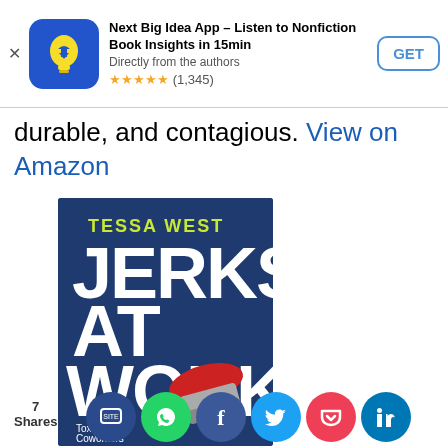[Figure (screenshot): App store advertisement banner for 'Next Big Idea App' with icon, title, subtitle, star rating (1,345), and GET button]
durable, and contagious. View on Amazon
[Figure (photo): Book cover of 'Jerks at Work' by Tessa West. Dark navy blue cover with large white text 'JERKS AT WORK', yellow text 'TESSA WEST' at top, subtitle 'Toxic Coworkers and What to Do About Them', and image of a red stapler.]
7 Shares
[Figure (infographic): Row of social sharing buttons: SMS/site share (dark blue), WhatsApp (green), Facebook (blue), Twitter (teal), Pocket (red), LinkedIn (blue)]